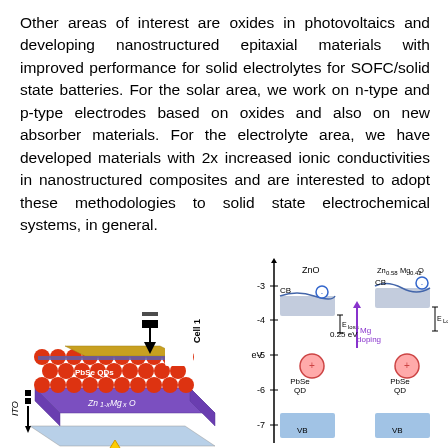Other areas of interest are oxides in photovoltaics and developing nanostructured epitaxial materials with improved performance for solid electrolytes for SOFC/solid state batteries. For the solar area, we work on n-type and p-type electrodes based on oxides and also on new absorber materials. For the electrolyte area, we have developed materials with 2x increased ionic conductivities in nanostructured composites and are interested to adopt these methodologies to solid state electrochemical systems, in general.
[Figure (schematic): Left: 3D schematic of a solar cell device stack showing ITO substrate, Zn1-xMgxO layer (purple), PbSe QDs (red spheres), and a gold contact with Cell 1 label and hv arrow. Right: Energy band diagram comparing ZnO and Zn0.58Mg0.42O with Mg doping, showing CB, VB, ELoss levels and PbSe QD positions at ~0.25 eV difference.]